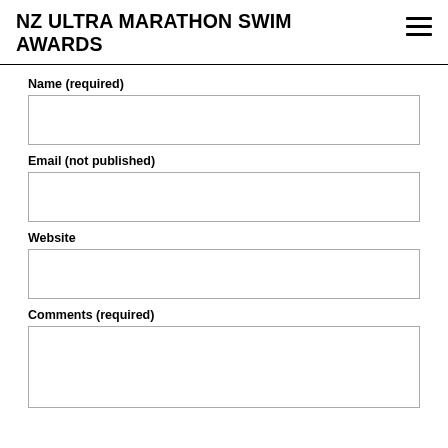NZ ULTRA MARATHON SWIM AWARDS
Name (required)
Email (not published)
Website
Comments (required)